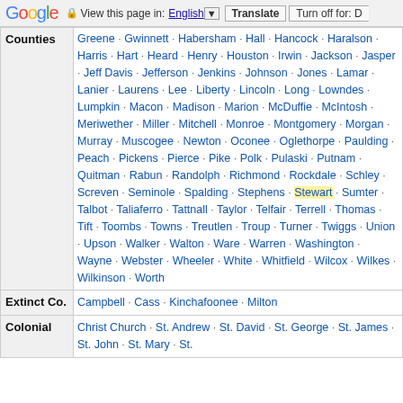Google | View this page in: English | Translate | Turn off for: D
| Category | Content |
| --- | --- |
| Counties | Greene · Gwinnett · Habersham · Hall · Hancock · Haralson · Harris · Hart · Heard · Henry · Houston · Irwin · Jackson · Jasper · Jeff Davis · Jefferson · Jenkins · Johnson · Jones · Lamar · Lanier · Laurens · Lee · Liberty · Lincoln · Long · Lowndes · Lumpkin · Macon · Madison · Marion · McDuffie · McIntosh · Meriwether · Miller · Mitchell · Monroe · Montgomery · Morgan · Murray · Muscogee · Newton · Oconee · Oglethorpe · Paulding · Peach · Pickens · Pierce · Pike · Polk · Pulaski · Putnam · Quitman · Rabun · Randolph · Richmond · Rockdale · Schley · Screven · Seminole · Spalding · Stephens · Stewart · Sumter · Talbot · Taliaferro · Tattnall · Taylor · Telfair · Terrell · Thomas · Tift · Toombs · Towns · Treutlen · Troup · Turner · Twiggs · Union · Upson · Walker · Walton · Ware · Warren · Washington · Wayne · Webster · Wheeler · White · Whitfield · Wilcox · Wilkes · Wilkinson · Worth |
| Extinct Co. | Campbell · Cass · Kinchafoonee · Milton |
| Colonial | Christ Church · St. Andrew · St. David · St. George · St. James · St. John · St. Mary · St. Matthews · St. Patrick · St. Paul · St. Philip · St. |